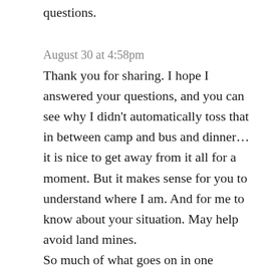questions.
August 30 at 4:58pm
Thank you for sharing. I hope I answered your questions, and you can see why I didn't automatically toss that in between camp and bus and dinner…it is nice to get away from it all for a moment. But it makes sense for you to understand where I am. And for me to know about your situation. May help avoid land mines.
So much of what goes on in one relationship is bouncing off what happened in another…I got the feeling when you asked me certain questions that it was “Wife won’t do this…will you?” Which is fine. Hubby was married before, and I am very different from his first wife, so I am used to the unsaid “well, she never let me” when he asks things.